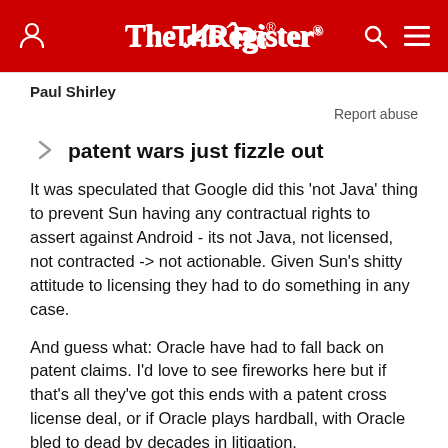The Register
Paul Shirley
Report abuse
patent wars just fizzle out
It was speculated that Google did this 'not Java' thing to prevent Sun having any contractual rights to assert against Android - its not Java, not licensed, not contracted -> not actionable. Given Sun's shitty attitude to licensing they had to do something in any case.
And guess what: Oracle have had to fall back on patent claims. I'd love to see fireworks here but if that's all they've got this ends with a patent cross license deal, or if Oracle plays hardball, with Oracle bled to dead by decades in litigation.
[BTW: if you want real Java on Android, there's an app for that. It worked but I couldn't really see the